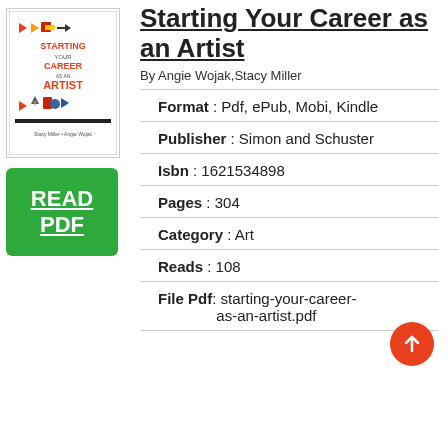[Figure (illustration): Book cover for 'Starting Your Career as an Artist' with colorful icons and text]
[Figure (other): Green button with underlined text READ PDF]
Starting Your Career as an Artist
By Angie Wojak,Stacy Miller
Format : Pdf, ePub, Mobi, Kindle
Publisher : Simon and Schuster
Isbn : 1621534898
Pages : 304
Category : Art
Reads : 108
File Pdf: starting-your-career-as-an-artist.pdf